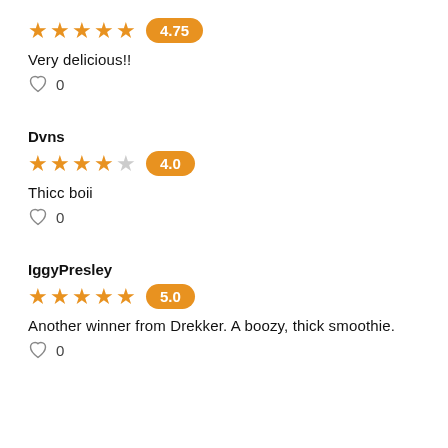[Figure (other): 5 filled orange stars with rating badge 4.75]
Very delicious!!
♡ 0
Dvns
[Figure (other): 4.5 orange stars (4 filled, 1 half) with rating badge 4.0]
Thicc boii
♡ 0
IggyPresley
[Figure (other): 5 filled orange stars with rating badge 5.0]
Another winner from Drekker. A boozy, thick smoothie.
♡ 0